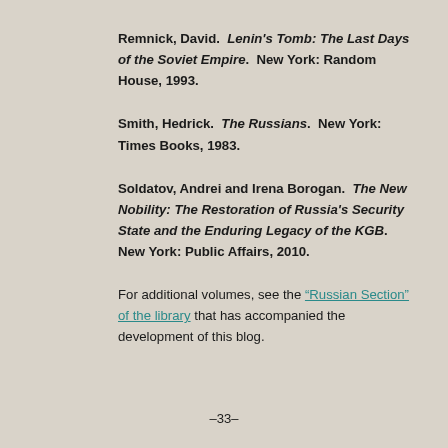Remnick, David. Lenin's Tomb: The Last Days of the Soviet Empire. New York: Random House, 1993.
Smith, Hedrick. The Russians. New York: Times Books, 1983.
Soldatov, Andrei and Irena Borogan. The New Nobility: The Restoration of Russia's Security State and the Enduring Legacy of the KGB. New York: Public Affairs, 2010.
For additional volumes, see the "Russian Section" of the library that has accompanied the development of this blog.
–33–